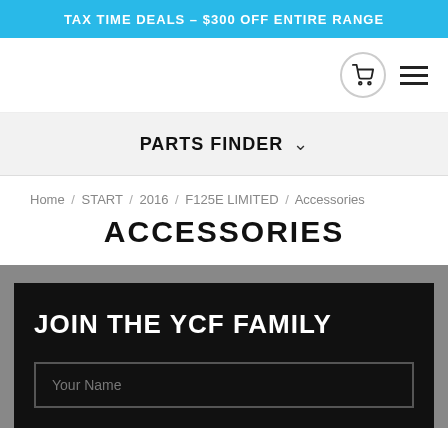TAX TIME DEALS - $300 OFF ENTIRE RANGE
PARTS FINDER
Home / START / 2016 / F125E LIMITED / Accessories
ACCESSORIES
JOIN THE YCF FAMILY
Your Name